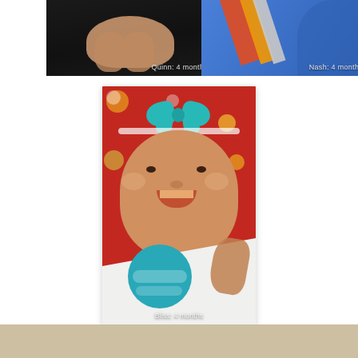[Figure (photo): Two side-by-side baby photos. Left photo labeled 'Quinn: 4 months' shows baby on dark background. Right photo labeled 'Nash: 4 months' shows colorful toy/letter on blue background.]
[Figure (photo): Photo of smiling baby girl wearing large teal bow headband, lying on red floral blanket, wearing white onesie with 'Four Months' milestone sticker. Labeled 'Bliss: 4 months'.]